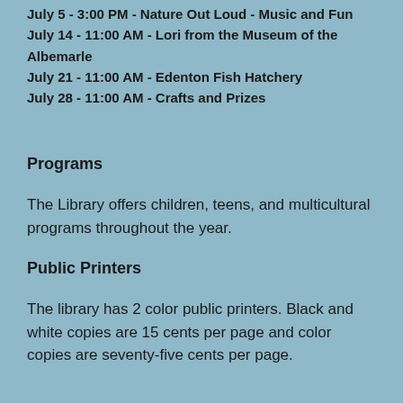July 5 - 3:00 PM - Nature Out Loud - Music and Fun
July 14 - 11:00 AM - Lori from the Museum of the Albemarle
July 21 - 11:00 AM - Edenton Fish Hatchery
July 28 - 11:00 AM - Crafts and Prizes
Programs
The Library offers children, teens, and multicultural programs throughout the year.
Public Printers
The library has 2 color public printers. Black and white copies are 15 cents per page and color copies are seventy-five cents per page.